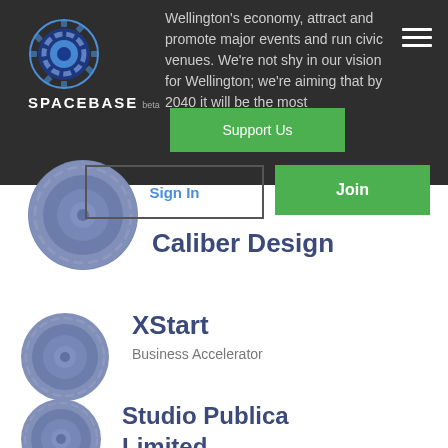[Figure (logo): Spacebase logo with circular gear icon and SPACEBASE beta wordmark]
Wellington's economy, attract and promote major events and run civic venues. We're not shy in our vision for Wellington; we're aiming that by 2040 it will be the most
[Figure (other): Hamburger menu icon (three horizontal white lines)]
Support Us
Sign In
Join
[Figure (logo): Caliber Design circular logo (blue-grey gear/disc icon)]
Caliber Design
[Figure (logo): XStart circular logo (blue-grey gear/disc icon)]
XStart
Business Accelerator
[Figure (logo): Studio Publica Limited circular logo (blue-grey gear/disc icon)]
Studio Publica Limited